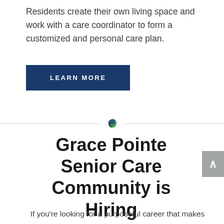Residents create their own living space and work with a care coordinator to form a customized and personal care plan.
[Figure (other): Dark navy blue rectangular button with white uppercase text reading LEARN MORE]
[Figure (illustration): Small colorful leaf/plant icon centered on a horizontal gray divider line]
Grace Pointe Senior Care Community is Hiring
If you’re looking for a purposeful career that makes